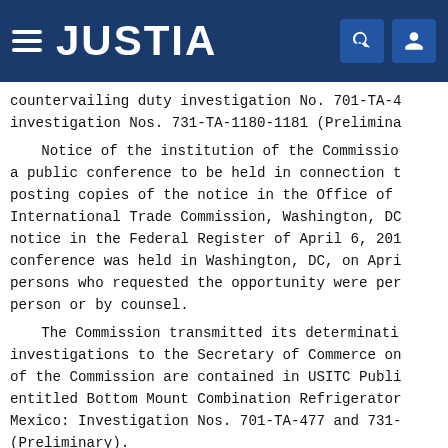JUSTIA
countervailing duty investigation No. 701-TA-4 investigation Nos. 731-TA-1180-1181 (Preliminary).
Notice of the institution of the Commission's a public conference to be held in connection to posting copies of the notice in the Office of International Trade Commission, Washington, DC notice in the Federal Register of April 6, 201 conference was held in Washington, DC, on April persons who requested the opportunity were permitted person or by counsel.
The Commission transmitted its determination investigations to the Secretary of Commerce on of the Commission are contained in USITC Publication entitled Bottom Mount Combination Refrigerators Mexico: Investigation Nos. 701-TA-477 and 731- (Preliminary).